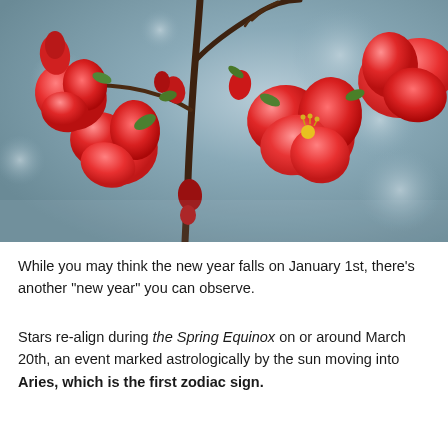[Figure (photo): Close-up photograph of red flowering quince blossoms on bare branches, with a blurred blue-grey bokeh background. The flowers are vivid red-pink with yellow stamens and small green leaves.]
While you may think the new year falls on January 1st, there's another “new year” you can observe.
Stars re-align during the Spring Equinox on or around March 20th, an event marked astrologically by the sun moving into Aries, which is the first zodiac sign.